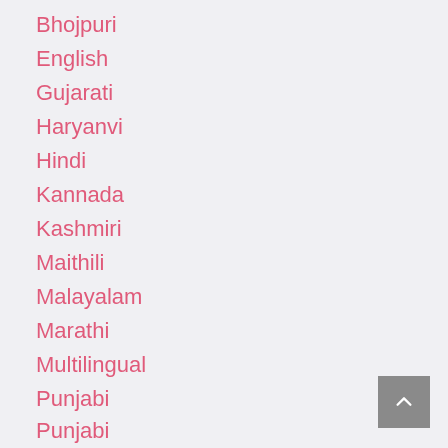Bhojpuri
English
Gujarati
Haryanvi
Hindi
Kannada
Kashmiri
Maithili
Malayalam
Marathi
Multilingual
Punjabi
Rajasthani
Sanskrit